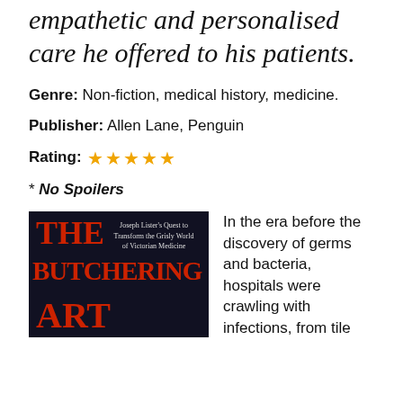empathetic and personalised care he offered to his patients.
Genre: Non-fiction, medical history, medicine.
Publisher: Allen Lane, Penguin
Rating: ★★★★★
* No Spoilers
[Figure (photo): Book cover of 'The Butchering Art' with subtitle 'Joseph Lister's Quest to Transform the Grisly World of Victorian Medicine'. Dark background with red text.]
In the era before the discovery of germs and bacteria, hospitals were crawling with infections, from tile